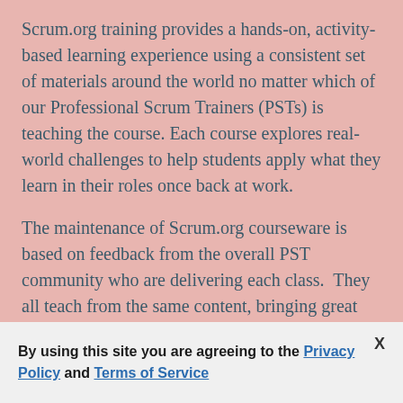Scrum.org training provides a hands-on, activity-based learning experience using a consistent set of materials around the world no matter which of our Professional Scrum Trainers (PSTs) is teaching the course. Each course explores real-world challenges to help students apply what they learn in their roles once back at work.
The maintenance of Scrum.org courseware is based on feedback from the overall PST community who are delivering each class.  They all teach from the same content, bringing great
By using this site you are agreeing to the Privacy Policy and Terms of Service